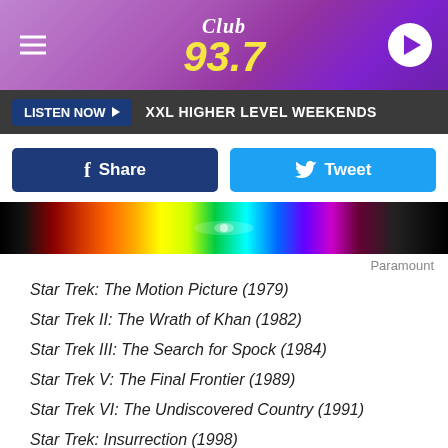[Figure (logo): Club 93.7 radio station logo on purple gradient header with hamburger menu icon and play button]
LISTEN NOW ▶  XXL HIGHER LEVEL WEEKENDS
[Figure (other): Two social sharing buttons: blue Facebook Share button and light blue Twitter Tweet button]
[Figure (photo): Colorful spectrum/rainbow banner image with spacecraft, captioned Paramount]
Paramount
Star Trek: The Motion Picture (1979)
Star Trek II: The Wrath of Khan (1982)
Star Trek III: The Search for Spock (1984)
Star Trek V: The Final Frontier (1989)
Star Trek VI: The Undiscovered Country (1991)
Star Trek: Insurrection (1998)
The Tenant (1976)
Teresa's Tattoo (1994)